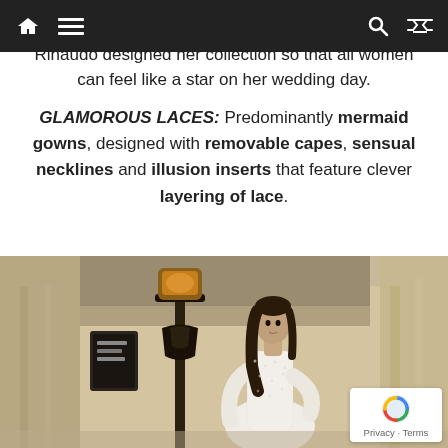Navigation bar with home, menu, search, and shuffle icons
unmistakable personality.
Rinaudo designed her collection so that all women can feel like a star on her wedding day.
GLAMOROUS LACES: Predominantly mermaid gowns, designed with removable capes, sensual necklines and illusion inserts that feature clever layering of lace.
[Figure (photo): Woman wearing a long-sleeved lace mermaid wedding gown standing outdoors in front of a classical building with a decorative lamp post]